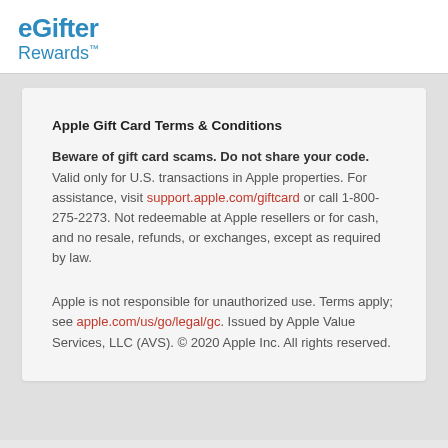eGifter Rewards™
Apple Gift Card Terms & Conditions
Beware of gift card scams. Do not share your code. Valid only for U.S. transactions in Apple properties. For assistance, visit support.apple.com/giftcard or call 1-800-275-2273. Not redeemable at Apple resellers or for cash, and no resale, refunds, or exchanges, except as required by law.
Apple is not responsible for unauthorized use. Terms apply; see apple.com/us/go/legal/gc. Issued by Apple Value Services, LLC (AVS). © 2020 Apple Inc. All rights reserved.